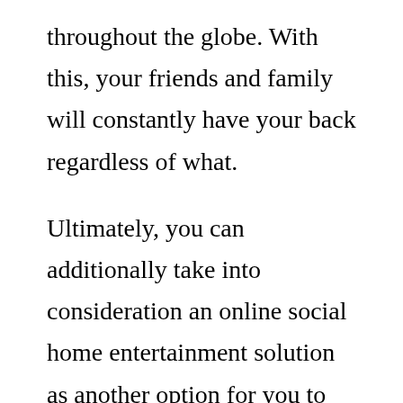throughout the globe. With this, your friends and family will constantly have your back regardless of what.
Ultimately, you can additionally take into consideration an online social home entertainment solution as another option for you to enjoy your favored streams. A few of the most effective services on the marketplace today consist of OnLive and also Vimeo.
Both of these systems enable users to stream their content to numerous devices including